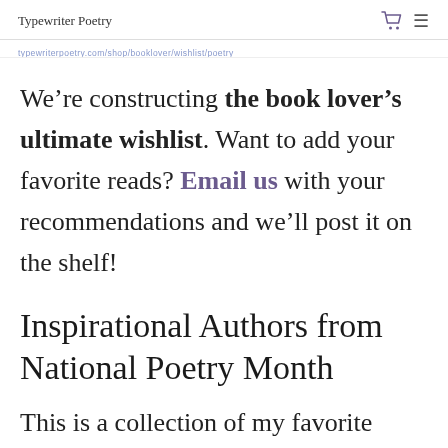Typewriter Poetry
We're constructing the book lover's ultimate wishlist. Want to add your favorite reads? Email us with your recommendations and we'll post it on the shelf!
Inspirational Authors from National Poetry Month
This is a collection of my favorite titles